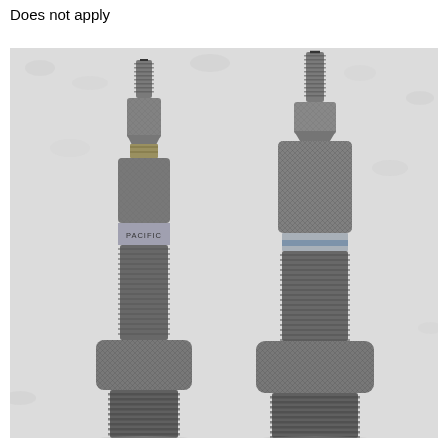Does not apply
[Figure (photo): Two reloading dies side by side on a white towel background. Both are metal, knurled/threaded dies. The left die is slightly shorter with a label reading 'PACIFIC' visible on its body. The right die is taller with a larger knurled adjustment knob at the top. Both have threaded shanks at the top and coarse external threads at the bottom for press mounting.]